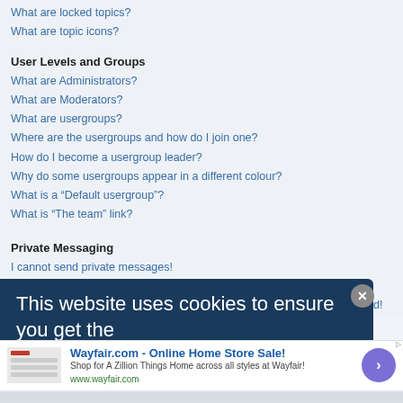What are locked topics?
What are topic icons?
User Levels and Groups
What are Administrators?
What are Moderators?
What are usergroups?
Where are the usergroups and how do I join one?
How do I become a usergroup leader?
Why do some usergroups appear in a different colour?
What is a “Default usergroup”?
What is “The team” link?
Private Messaging
I cannot send private messages!
I keep getting unwanted private messages!
I have received a spamming or abusive email from someone on this board!
[Figure (screenshot): Cookie consent banner with dark blue background saying 'This website uses cookies to ensure you get the best experience on our website' with a close button]
[Figure (screenshot): Wayfair.com advertisement: Online Home Store Sale - Shop for A Zillion Things Home across all styles at Wayfair! www.wayfair.com]